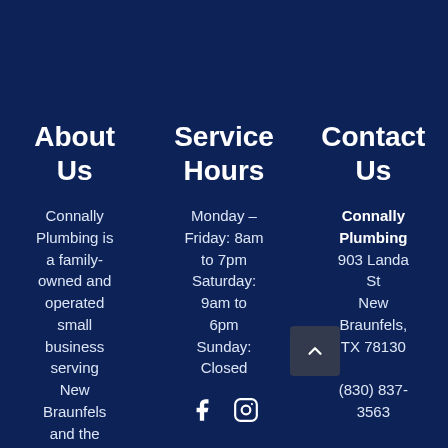About Us
Connally Plumbing is a family-owned and operated small business serving New Braunfels and the
Service Hours
Monday – Friday: 8am to 7pm
Saturday: 9am to 6pm
Sunday: Closed
[Figure (other): Facebook and Instagram social media icons]
Contact Us
Connally Plumbing
903 Landa St
New Braunfels, TX 78130
(830) 837-3563
License M-